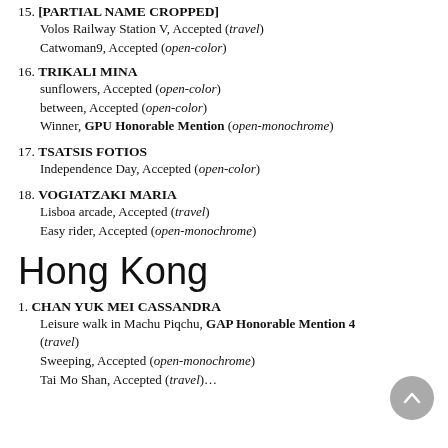15. [PARTIAL NAME]
Volos Railway Station V, Accepted (travel)
Catwoman9, Accepted (open-color)
16. TRIKALI MINA
sunflowers, Accepted (open-color)
between, Accepted (open-color)
Winner, GPU Honorable Mention (open-monochrome)
17. TSATSIS FOTIOS
Independence Day, Accepted (open-color)
18. VOGIATZAKI MARIA
Lisboa arcade, Accepted (travel)
Easy rider, Accepted (open-monochrome)
Hong Kong
1. CHAN YUK MEI CASSANDRA
Leisure walk in Machu Piqchu, GAP Honorable Mention 4 (travel)
Sweeping, Accepted (open-monochrome)
Tai Mo Shan, Accepted (travel)